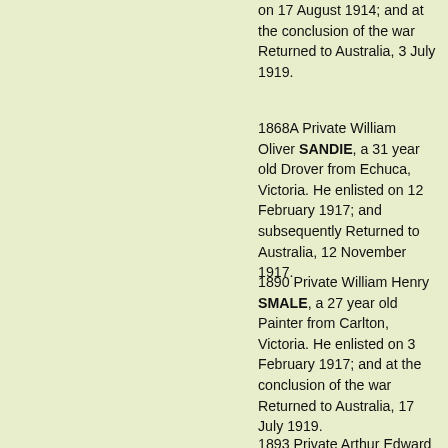on 17 August 1914; and at the conclusion of the war Returned to Australia, 3 July 1919.
1868A Private William Oliver SANDIE, a 31 year old Drover from Echuca, Victoria. He enlisted on 12 February 1917; and subsequently Returned to Australia, 12 November 1917.
1890 Private William Henry SMALE, a 27 year old Painter from Carlton, Victoria. He enlisted on 3 February 1917; and at the conclusion of the war Returned to Australia, 17 July 1919.
1893 Private Arthur Edward THIEL, a 26 year old Plumber from Abbotsford, Victoria. He enlisted on 17 January 1917; and at the conclusion of the war Returned to Australia, 26 July 1919.